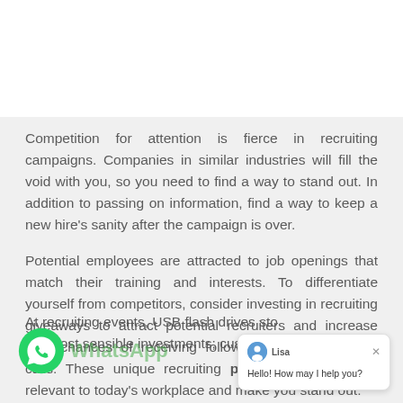Competition for attention is fierce in recruiting campaigns. Companies in similar industries will fill the void with you, so you need to find a way to stand out. In addition to passing on information, find a way to keep a new hire’s sanity after the campaign is over.
Potential employees are attracted to job openings that match their training and interests. To differentiate yourself from competitors, consider investing in recruiting giveaways to attract potential recruiters and increase your chances of receiving follow-up emails or phone calls. These unique recruiting promotional gifts are relevant to today’s workplace and make you stand out:
At recruiting events, USB flash drives sto... the most sensible investments; custom flash drives...